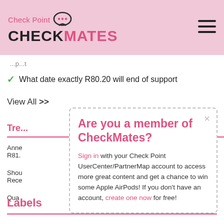Check Point CHECKMATES
✓ What date exactly R80.20 will end of support
View All >>
Tre...
Anne...
R81...
Shou...
Rece...
Qua...
Are you a member of CheckMates?
Sign in with your Check Point UserCenter/PartnerMap account to access more great content and get a chance to win some Apple AirPods! If you don't have an account, create one now for free!
Labels